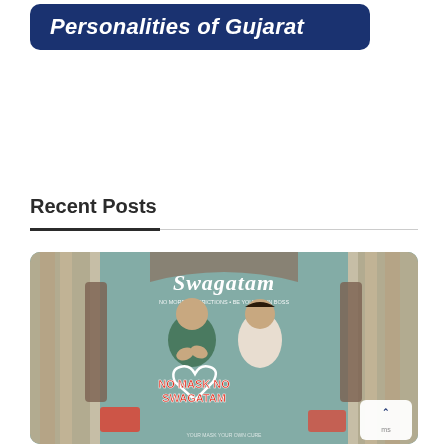[Figure (illustration): Dark blue rounded banner with italic bold white text reading 'Personalities of Gujarat']
Recent Posts
[Figure (photo): Movie promotional poster for 'Swagatam' showing a man in dark green kurta with hands folded in namaste pose and a woman in white outfit, with text 'No Mask No Swagatam' in colorful letters at the bottom, teal/curtained background]